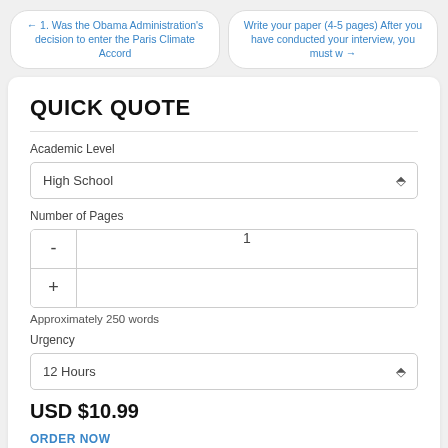← 1. Was the Obama Administration's decision to enter the Paris Climate Accord
Write your paper (4-5 pages) After you have conducted your interview, you must w →
QUICK QUOTE
Academic Level
High School
Number of Pages
1
Approximately 250 words
Urgency
12 Hours
USD $10.99
ORDER NOW